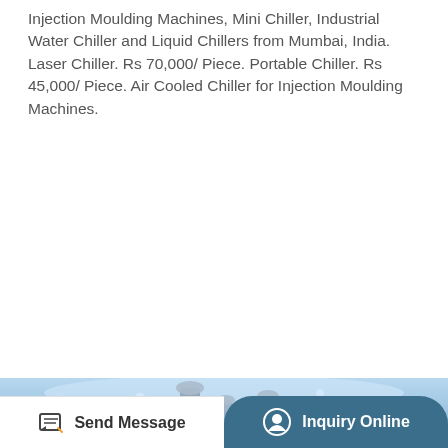Injection Moulding Machines, Mini Chiller, Industrial Water Chiller and Liquid Chillers from Mumbai, India. Laser Chiller. Rs 70,000/ Piece. Portable Chiller. Rs 45,000/ Piece. Air Cooled Chiller for Injection Moulding Machines.
[Figure (other): Orange 'More Details' button]
[Figure (infographic): Three feature icons: COPPER Material (circular gear icon), EFFICIENT Compressor (lightning bolt in circular arrows), FASTER Cooling (snowflake icon), with dividers between them. TOP button on the right side.]
[Figure (photo): Ice block with water splash containing chiller equipment]
Send Message
Inquiry Online